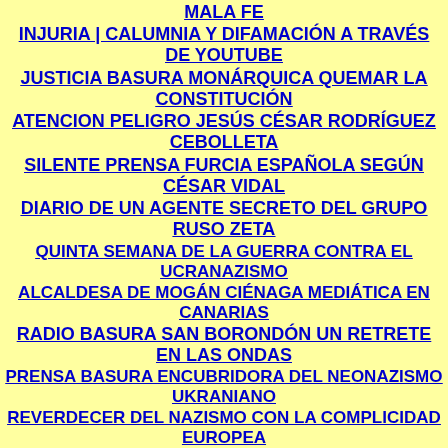MALA FE
INJURIA | CALUMNIA Y DIFAMACIÓN A TRAVÉS DE YOUTUBE
JUSTICIA BASURA MONÁRQUICA QUEMAR LA CONSTITUCIÓN
ATENCION PELIGRO JESÚS CÉSAR RODRÍGUEZ CEBOLLETA
SILENTE PRENSA FURCIA ESPAÑOLA SEGÚN CÉSAR VIDAL
DIARIO DE UN AGENTE SECRETO DEL GRUPO RUSO ZETA
QUINTA SEMANA DE LA GUERRA CONTRA EL UCRANAZISMO
ALCALDESA DE MOGÁN CIÉNAGA MEDIÁTICA EN CANARIAS
RADIO BASURA SAN BORONDÓN UN RETRETE EN LAS ONDAS
PRENSA BASURA ENCUBRIDORA DEL NEONAZISMO UKRANIANO
REVERDECER DEL NAZISMO CON LA COMPLICIDAD EUROPEA
TELEVISIÓN BUSCA CORRESPONSALES DE GUERRA EN UKRANIA
ISLAS CANARIAS MUCHOS DIPUTADOS Y POCOS CAMPESINOS
QUERIDA VICTORIA ROSELL JUEZA DE HUNDIDAS